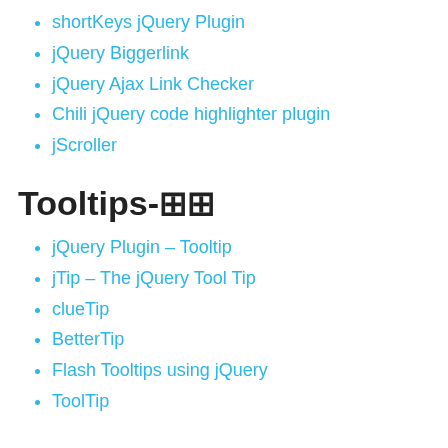shortKeys jQuery Plugin
jQuery Biggerlink
jQuery Ajax Link Checker
Chili jQuery code highlighter plugin
jScroller
Tooltips-🔲🔲
jQuery Plugin – Tooltip
jTip – The jQuery Tool Tip
clueTip
BetterTip
Flash Tooltips using jQuery
ToolTip